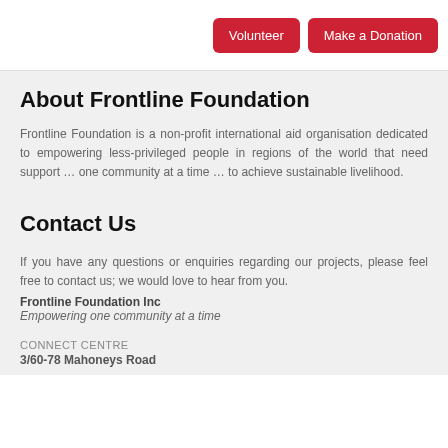Volunteer | Make a Donation
About Frontline Foundation
Frontline Foundation is a non-profit international aid organisation dedicated to empowering less-privileged people in regions of the world that need support … one community at a time … to achieve sustainable livelihood.
Contact Us
If you have any questions or enquiries regarding our projects, please feel free to contact us; we would love to hear from you.
Frontline Foundation Inc
Empowering one community at a time
CONNECT CENTRE
3/60-78 Mahoneys Road